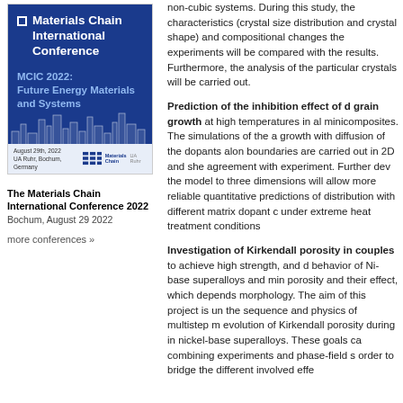[Figure (illustration): Materials Chain International Conference 2022 poster/banner with blue background showing MCIC 2022: Future Energy Materials and Systems, city skyline silhouette, date August 29th 2022, UA Ruhr Bochum Germany, Materials Chain logo]
The Materials Chain International Conference 2022
Bochum, August 29 2022
more conferences »
non-cubic systems. During this study, the characteristics (crystal size distribution and crystal shape) and compositional changes the experiments will be compared with the results. Furthermore, the analysis of the particular crystals will be carried out.
Prediction of the inhibition effect of d grain growth at high temperatures in al minicomposites. The simulations of the a growth with diffusion of the dopants alon boundaries are carried out in 2D and she agreement with experiment. Further dev the model to three dimensions will allow more reliable quantitative predictions of distribution with different matrix dopant c under extreme heat treatment conditions
Investigation of Kirkendall porosity in couples to achieve high strength, and d behavior of Ni-base superalloys and min porosity and their effect, which depends morphology. The aim of this project is un the sequence and physics of multistep m evolution of Kirkendall porosity during in nickel-base superalloys. These goals ca combining experiments and phase-field s order to bridge the different involved effe